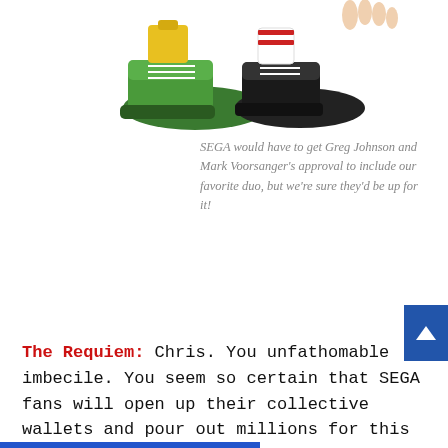[Figure (illustration): Cartoon illustration showing the feet/shoes of characters — large green sneakers and black-and-white shoes visible at the top of the page]
SEGA would have to get Greg Johnson and Mark Voorsanger's approval to include our favorite duo, but we're sure they'd be up for it!
The Requiem: Chris. You unfathomable imbecile. You seem so certain that SEGA fans will open up their collective wallets and pour out millions for this game, yet even the original Bayonetta, an amazing, cross-platform game filled with tons of SEGA references and in-jokes, didn't sell well enough for SEGA to feel comfortable publishing the sequel. It's all about dollars and cents.